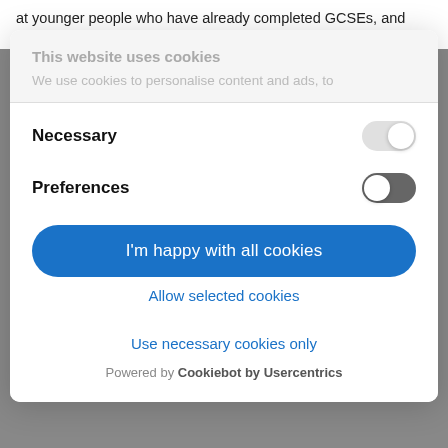at younger people who have already completed GCSEs, and who now
This website uses cookies
We use cookies to personalise content and ads, to
Necessary
Preferences
I'm happy with all cookies
Allow selected cookies
Use necessary cookies only
Powered by Cookiebot by Usercentrics